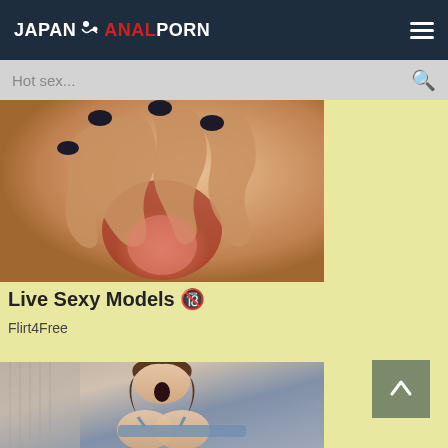JAPAN ANAL PORN
Hot sex...
[Figure (photo): Close-up adult content image]
Live Sexy Models 🔞
Flirt4Free
[Figure (photo): Adult content image of woman in blue top]